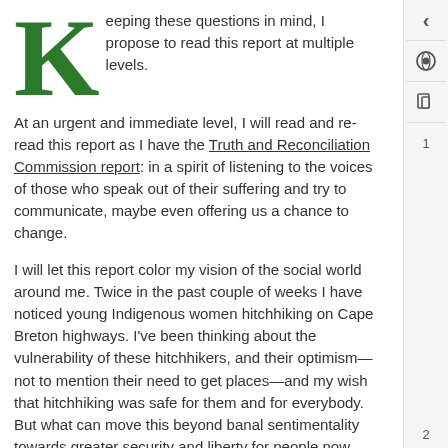Keeping these questions in mind, I propose to read this report at multiple levels. At an urgent and immediate level, I will read and re-read this report as I have the Truth and Reconciliation Commission report: in a spirit of listening to the voices of those who speak out of their suffering and try to communicate, maybe even offering us a chance to change.
I will let this report color my vision of the social world around me. Twice in the past couple of weeks I have noticed young Indigenous women hitchhiking on Cape Breton highways. I've been thinking about the vulnerability of these hitchhikers, and their optimism—not to mention their need to get places—and my wish that hitchhiking was safe for them and for everybody. But what can move this beyond banal sentimentality towards greater security and liberty for people now living in fear?